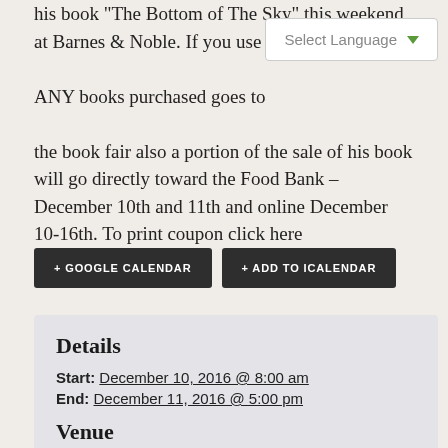his book “The Bottom of The Sky” this weekend at Barnes & Noble. If you use th[e book fair code] ANY books purchased goes to[ward the school] the book fair also a portion of the sale of his book will go directly toward the Food Bank – December 10th and 11th and online December 10-16th. To print coupon click here
[Figure (screenshot): Select Language dropdown UI element overlay]
+ GOOGLE CALENDAR   + ADD TO ICALENDAR
Details
Start: December 10, 2016 @ 8:00 am
End: December 11, 2016 @ 5:00 pm
Venue
Barnes and Noble